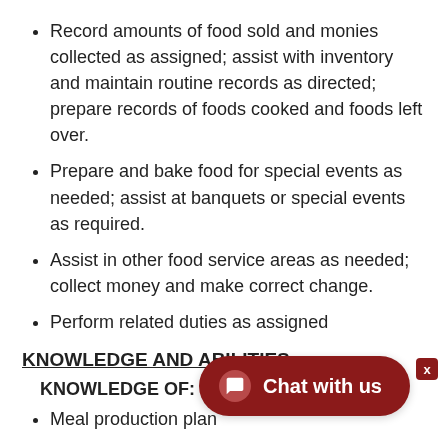Record amounts of food sold and monies collected as assigned; assist with inventory and maintain routine records as directed; prepare records of foods cooked and foods left over.
Prepare and bake food for special events as needed; assist at banquets or special events as required.
Assist in other food service areas as needed; collect money and make correct change.
Perform related duties as assigned
KNOWLEDGE AND ABILITIES:
KNOWLEDGE OF:
Meal production plan
Applicable District, federal and state laws, rules